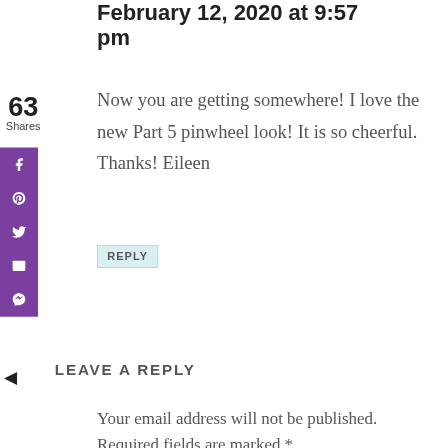February 12, 2020 at 9:57 pm
Now you are getting somewhere! I love the new Part 5 pinwheel look! It is so cheerful. Thanks! Eileen
REPLY
LEAVE A REPLY
Your email address will not be published. Required fields are marked *